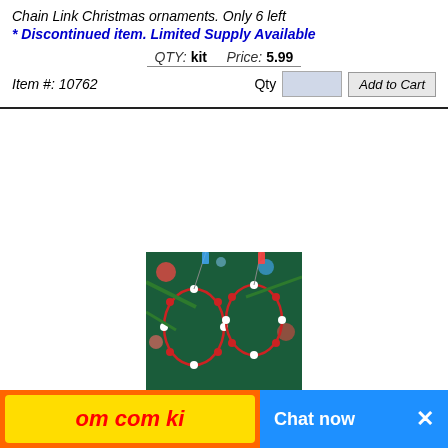Chain Link Christmas ornaments. Only 6 left
* Discontinued item. Limited Supply Available
QTY: kit    Price: 5.99
Item #: 10762
[Figure (photo): Holiday ornament kit photo showing red and white beaded Christmas ornaments on a tree]
(Click to enlarge)
Holiday Treasures Ornament Kit
3 1/2" -  CHRISTMAS TWIRL - kit
Twirl ornament kit makes 6 Christmas ornaments.
QTY: kit    Price: 5.99
Item #: 10763
[Figure (photo): Partial view of another product at the bottom of the page]
Chat now